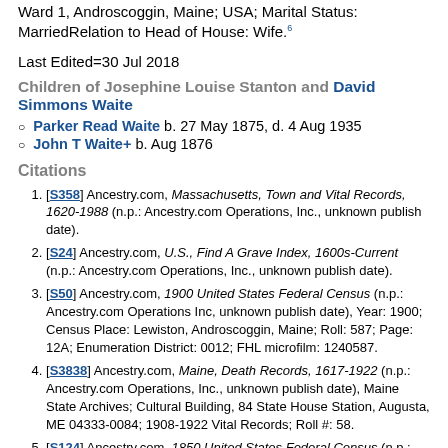Ward 1, Androscoggin, Maine; USA; Marital Status: MarriedRelation to Head of House: Wife.6
Last Edited=30 Jul 2018
Children of Josephine Louise Stanton and David Simmons Waite
Parker Read Waite b. 27 May 1875, d. 4 Aug 1935
John T Waite+ b. Aug 1876
Citations
[S358] Ancestry.com, Massachusetts, Town and Vital Records, 1620-1988 (n.p.: Ancestry.com Operations, Inc., unknown publish date).
[S24] Ancestry.com, U.S., Find A Grave Index, 1600s-Current (n.p.: Ancestry.com Operations, Inc., unknown publish date).
[S50] Ancestry.com, 1900 United States Federal Census (n.p.: Ancestry.com Operations Inc, unknown publish date), Year: 1900; Census Place: Lewiston, Androscoggin, Maine; Roll: 587; Page: 12A; Enumeration District: 0012; FHL microfilm: 1240587.
[S3838] Ancestry.com, Maine, Death Records, 1617-1922 (n.p.: Ancestry.com Operations, Inc., unknown publish date), Maine State Archives; Cultural Building, 84 State House Station, Augusta, ME 04333-0084; 1908-1922 Vital Records; Roll #: 58.
[S124] Ancestry.com, 1850 United States Federal Census (n.p.: Ancestry.com Operations, Inc., unknown publish date), Year: 1850; Census Place: Norwich, New London, Connecticut; Roll: